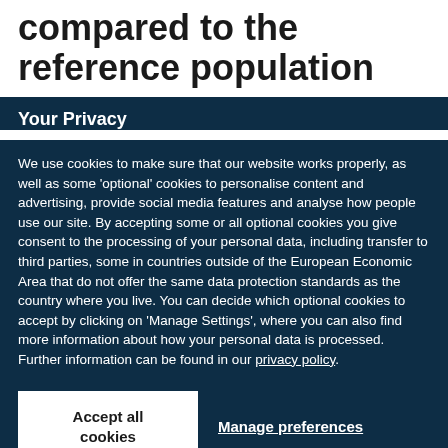compared to the reference population
Your Privacy
We use cookies to make sure that our website works properly, as well as some ‘optional’ cookies to personalise content and advertising, provide social media features and analyse how people use our site. By accepting some or all optional cookies you give consent to the processing of your personal data, including transfer to third parties, some in countries outside of the European Economic Area that do not offer the same data protection standards as the country where you live. You can decide which optional cookies to accept by clicking on ‘Manage Settings’, where you can also find more information about how your personal data is processed. Further information can be found in our privacy policy.
Accept all cookies
Manage preferences